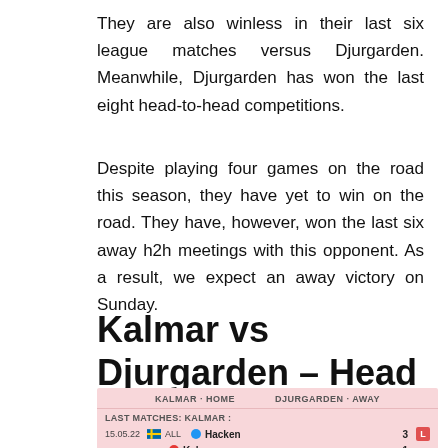They are also winless in their last six league matches versus Djurgarden. Meanwhile, Djurgarden has won the last eight head-to-head competitions.
Despite playing four games on the road this season, they have yet to win on the road. They have, however, won the last six away h2h meetings with this opponent. As a result, we expect an away victory on Sunday.
Kalmar vs Djurgarden – Head To Head
| KALMAR · HOME | DJURGARDEN · AWAY |
| --- | --- |
| LAST MATCHES: KALMAR |  |  |  |
| 15.05.22 | ALL | Hacken | 3 | L |
|  |  | Kalmar | 1 |  |
| 08.05.22 | ALL | Kalmar | 2 | W |
|  |  | Hammarby | 0 |  |